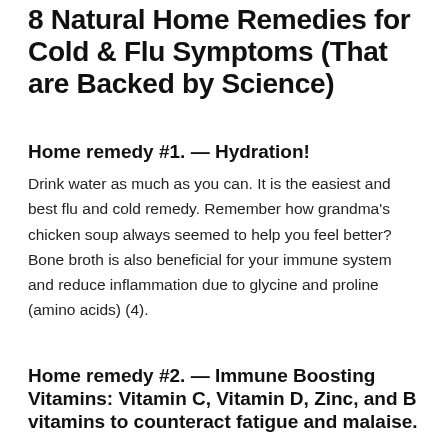8 Natural Home Remedies for Cold & Flu Symptoms (That are Backed by Science)
Home remedy #1. — Hydration!
Drink water as much as you can. It is the easiest and best flu and cold remedy. Remember how grandma's chicken soup always seemed to help you feel better? Bone broth is also beneficial for your immune system and reduce inflammation due to glycine and proline (amino acids) (4).
Home remedy #2. — Immune Boosting Vitamins: Vitamin C, Vitamin D, Zinc, and B vitamins to counteract fatigue and malaise.
I recommend giving your immune system an added boost with the following supplements: